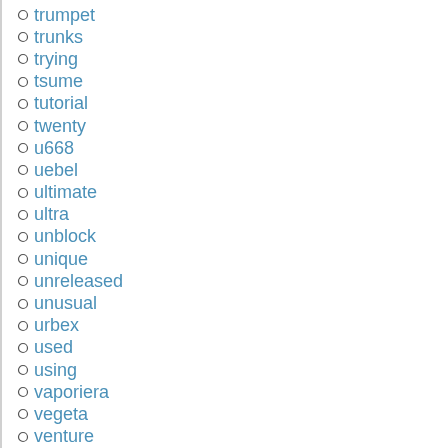trumpet
trunks
trying
tsume
tutorial
twenty
u668
uebel
ultimate
ultra
unblock
unique
unreleased
unusual
urbex
used
using
vaporiera
vegeta
venture